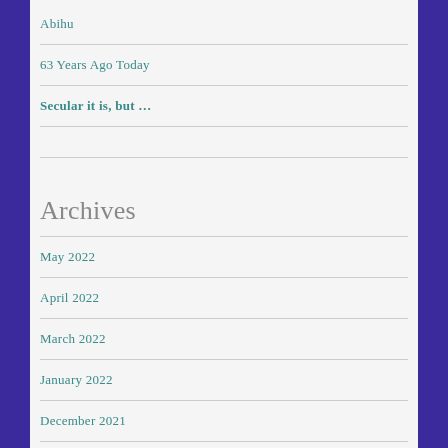Abihu
63 Years Ago Today
Secular it is, but …
Archives
May 2022
April 2022
March 2022
January 2022
December 2021